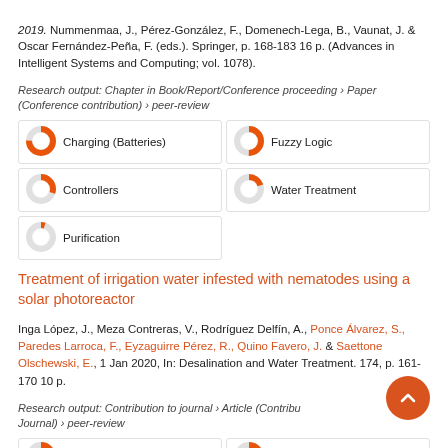2019. Nummenmaa, J., Pérez-González, F., Domenech-Lega, B., Vaunat, J. & Oscar Fernández-Peña, F. (eds.). Springer, p. 168-183 16 p. (Advances in Intelligent Systems and Computing; vol. 1078).
Research output: Chapter in Book/Report/Conference proceeding › Paper (Conference contribution) › peer-review
[Figure (infographic): Five keyword badges with donut/pie chart icons showing coverage percentage: Charging (Batteries) ~100%, Fuzzy Logic ~75%, Controllers ~55%, Water Treatment ~45%, Purification ~30%]
Treatment of irrigation water infested with nematodes using a solar photoreactor
Inga López, J., Meza Contreras, V., Rodríguez Delfín, A., Ponce Álvarez, S., Paredes Larroca, F., Eyzaguirre Pérez, R., Quino Favero, J. & Saettone Olschewski, E., 1 Jan 2020, In: Desalination and Water Treatment. 174, p. 161-170 10 p.
Research output: Contribution to journal › Article (Contribution to Journal) › peer-review
[Figure (infographic): Two keyword badges partially visible at bottom: Irrigation Water and Irrigation with donut icons]